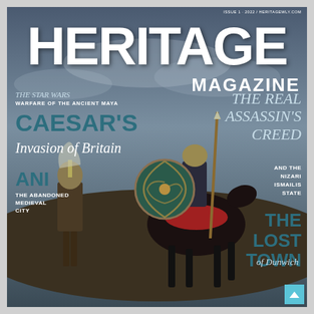ISSUE 1 · 2022 / HERITAGEWLY.COM
HERITAGE
MAGAZINE
THE STAR WARS
WARFARE OF THE ANCIENT MAYA
CAESAR'S
Invasion of Britain
ANI
THE ABANDONED MEDIEVAL CITY
[Figure (photo): Two Roman soldiers in armor with helmets and shields, and a mounted warrior on a black horse with decorative equipment, set against a dramatic cloudy sky background — magazine cover image]
THE REAL
ASSASSIN'S
CREED
AND THE
NIZARI
ISMAILIS
STATE
THE
LOST
TOWN
of Dunwich